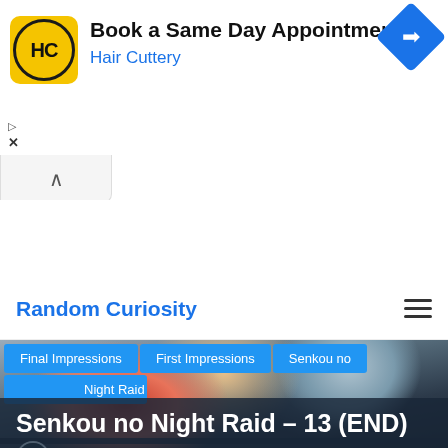[Figure (screenshot): Advertisement banner for Hair Cuttery: Book a Same Day Appointment. Shows HC logo in yellow circle on yellow background, ad title, blue Hair Cuttery subtitle, blue diamond navigation icon on right. Ad controls (play triangle, X close) on left side below. Collapse chevron button below ad.]
Book a Same Day Appointment
Hair Cuttery
Random Curiosity
[Figure (illustration): Anime illustration showing characters with red/orange hair, white outfit, dark outfit, on a colorful background]
Final Impressions
First Impressions
Senkou no
Night Raid
Senkou no Night Raid – 13 (END)
Posted by Divine on June 29, 2010
Final Impressions  Senkou no Night Raid – 13 (END)